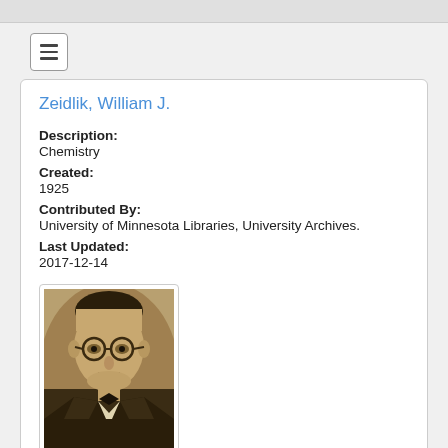Zeidlik, William J.
Description:
Chemistry
Created:
1925
Contributed By:
University of Minnesota Libraries, University Archives.
Last Updated:
2017-12-14
[Figure (photo): Sepia-tone portrait photograph of William J. Zeidlik, a man wearing round glasses and a dark suit with bow tie, circa 1925.]